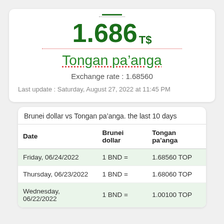1.686 T$
Tongan pa’anga
Exchange rate : 1.68560
Last update : Saturday, August 27, 2022 at 11:45 PM
Brunei dollar vs Tongan pa’anga. the last 10 days
| Date | Brunei dollar | Tongan pa’anga |
| --- | --- | --- |
| Friday, 06/24/2022 | 1 BND = | 1.68560 TOP |
| Thursday, 06/23/2022 | 1 BND = | 1.68060 TOP |
| Wednesday, 06/22/2022 | 1 BND = | 1.00100 TOP |